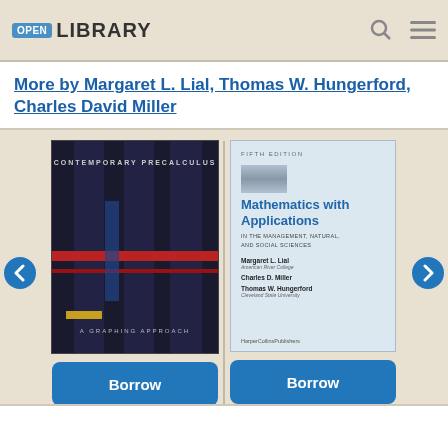OPEN LIBRARY
More by Margaret L. Lial, Thomas W. Hungerford, Charles David Miller
[Figure (photo): Book cover: Contemporary Precalculus - A Graphing Approach, dark background with grid-like pattern]
[Figure (photo): Book cover: Mathematics with Applications, Fifth Edition, In the Management, Natural, and Social Sciences by Margaret L. Lial, Charles D. Miller, Thomas W. Hungerford, HarperCollins Publishers]
Borrow
Borrow